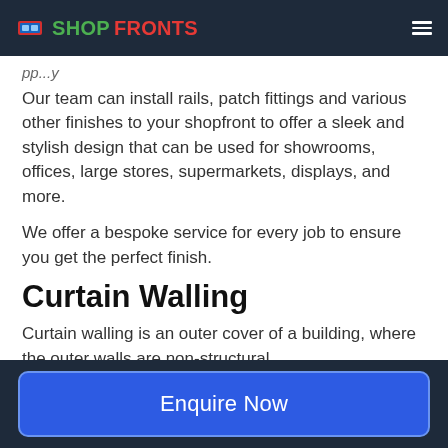SHOPFRONTS
pp...y
Our team can install rails, patch fittings and various other finishes to your shopfront to offer a sleek and stylish design that can be used for showrooms, offices, large stores, supermarkets, displays, and more.
We offer a bespoke service for every job to ensure you get the perfect finish.
Curtain Walling
Curtain walling is an outer cover of a building, where the outer walls are non-structural.
Enquire Now